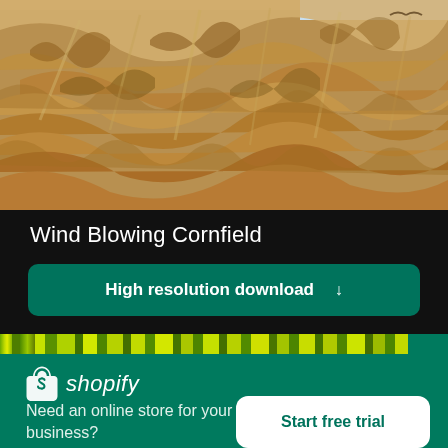[Figure (photo): Close-up photo of dried corn stalks in a cornfield, with tan/golden dry leaves filling the frame against a light blue sky at the top edge.]
Wind Blowing Cornfield
High resolution download ↓
[Figure (photo): Thumbnail strip showing vertical green and yellow-green striped patterns (corn field thumbnail images).]
[Figure (logo): Shopify logo — white shopping bag icon with 'shopify' wordmark in white italic text on green background.]
Need an online store for your business?
Start free trial